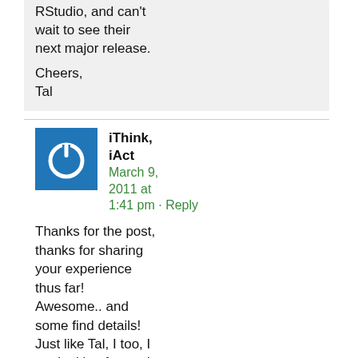RStudio, and can't wait to see their next major release.

Cheers,
Tal
iThink, iAct
March 9, 2011 at 1:41 pm · Reply
Thanks for the post, thanks for sharing your experience thus far! Awesome.. and some find details! Just like Tal, I too, I am looking forward to their next major release.